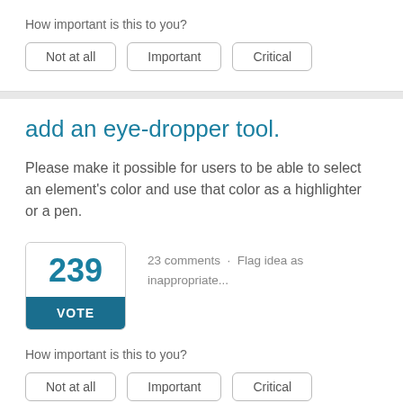How important is this to you?
Not at all
Important
Critical
add an eye-dropper tool.
Please make it possible for users to be able to select an element's color and use that color as a highlighter or a pen.
239
VOTE
23 comments · Flag idea as inappropriate...
How important is this to you?
Not at all
Important
Critical